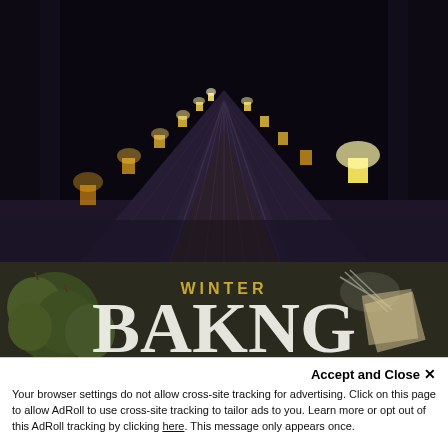[Figure (photo): Night-time photograph of a snow-covered path or ski trail flanked by glowing luminaria candles receding into the darkness, with bare winter trees on either side.]
[Figure (photo): Partial view of a book or magazine cover showing the word 'WINTER' in gold letters and large letters 'BAKNG' partially visible, overlaid on a dark background with green apples and a whisk.]
Accept and Close ✕
Your browser settings do not allow cross-site tracking for advertising. Click on this page to allow AdRoll to use cross-site tracking to tailor ads to you. Learn more or opt out of this AdRoll tracking by clicking here. This message only appears once.